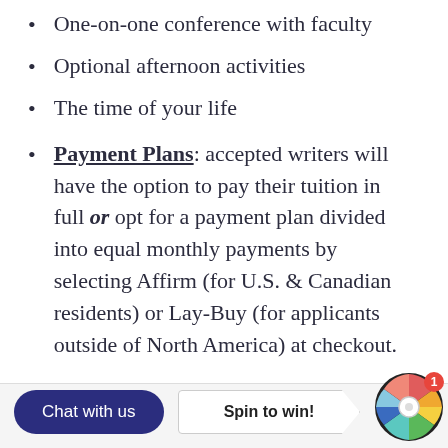One-on-one conference with faculty
Optional afternoon activities
The time of your life
Payment Plans: accepted writers will have the option to pay their tuition in full or opt for a payment plan divided into equal monthly payments by selecting Affirm (for U.S. & Canadian residents) or Lay-Buy (for applicants outside of North America) at checkout.
FAQ at the bottom of this page.
[Figure (other): Chat with us button (dark blue rounded pill), Spin to win! arrow button (white), and a colorful prize wheel icon with notification badge '1' in bottom bar]